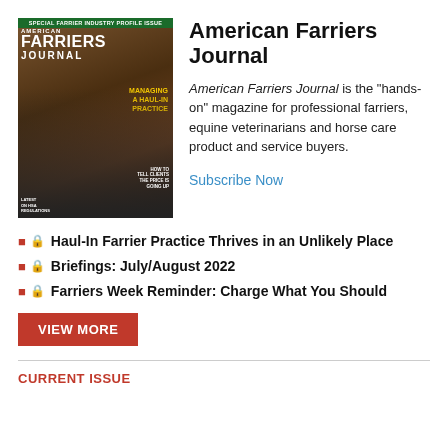[Figure (photo): Cover of American Farriers Journal magazine — Special Farrier Industry Profile Issue. Shows a farrier working, with the headline 'Managing a Haul-In Practice' in yellow text and a red banner at the top.]
American Farriers Journal
American Farriers Journal is the "hands-on" magazine for professional farriers, equine veterinarians and horse care product and service buyers.
Subscribe Now
Haul-In Farrier Practice Thrives in an Unlikely Place
Briefings: July/August 2022
Farriers Week Reminder: Charge What You Should
VIEW MORE
CURRENT ISSUE